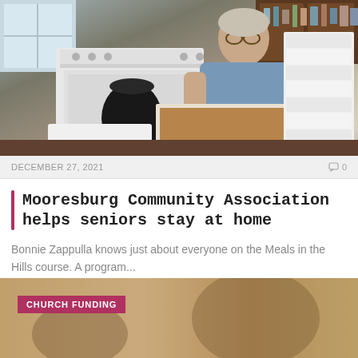[Figure (photo): Woman in kitchen preparing meals in styrofoam containers, smiling at camera]
DECEMBER 27, 2021
0
Mooresburg Community Association helps seniors stay at home
Bonnie Zappulla knows just about everyone on the Meals in the Hills course. A program...
[Figure (photo): Blurred background image related to church funding article with CHURCH FUNDING tag overlay]